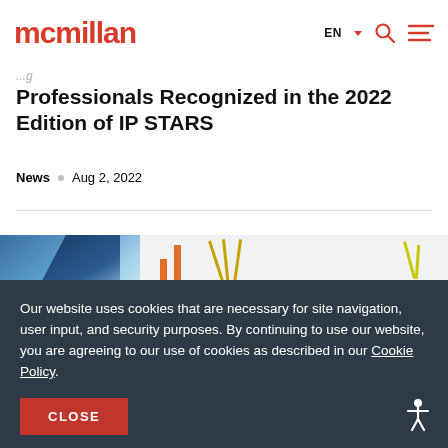mcmillan — EN — [search] [menu]
Professionals Recognized in the 2022 Edition of IP STARS
News • Aug 2, 2022
[Figure (photo): Decorative image strip showing blue diagonal shapes, orange vertical bars, and yellow fan/line designs on a light background]
Our website uses cookies that are necessary for site navigation, user input, and security purposes. By continuing to use our website, you are agreeing to our use of cookies as described in our Cookie Policy.
CLOSE